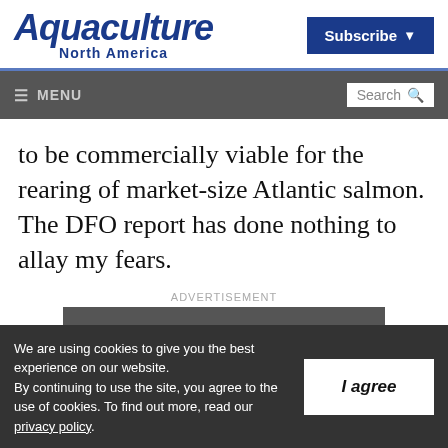Aquaculture North America | Subscribe
MENU | Search
to be commercially viable for the rearing of market-size Atlantic salmon. The DFO report has done nothing to allay my fears.
ADVERTISEMENT
[Figure (other): Dark grey advertisement banner with white bold text reading 'Not a current subscriber?']
We are using cookies to give you the best experience on our website. By continuing to use the site, you agree to the use of cookies. To find out more, read our privacy policy.